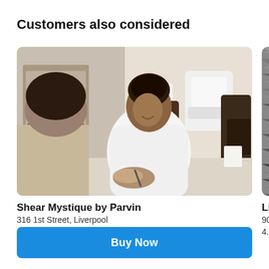Customers also considered
[Figure (photo): Nail salon photo: a woman in white robe doing nail service for a customer, spa chairs in background]
Shear Mystique by Parvin
316 1st Street, Liverpool
4.8 ★★★★★ 139 Ratings
[Figure (photo): Partial image of a gray fluffy blanket or throw]
Little Ray
9090 Destin
4.7 ★★★★
Buy Now